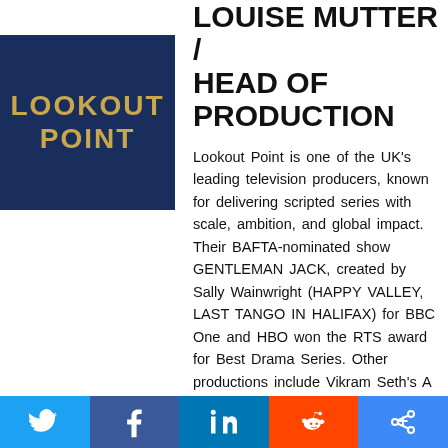[Figure (logo): Lookout Point logo — dark navy blue square with golden bold uppercase text reading LOOKOUT POINT]
LOUISE MUTTER / HEAD OF PRODUCTION
Lookout Point is one of the UK's leading television producers, known for delivering scripted series with scale, ambition, and global impact. Their BAFTA-nominated show GENTLEMAN JACK, created by Sally Wainwright (HAPPY VALLEY, LAST TANGO IN HALIFAX) for BBC One and HBO won the RTS award for Best Drama Series. Other productions include Vikram Seth's A SUITABLE BOY, LES MIS... Dominic West and David